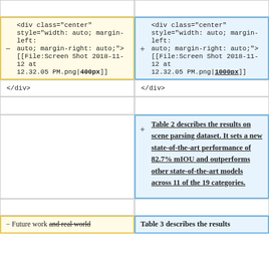[empty cell top-left]
[empty cell top-right]
<div class="center" style="width: auto; margin-left: auto; margin-right: auto;"> [[File:Screen Shot 2018-11-12 at 12.32.05 PM.png|400px]]
<div class="center" style="width: auto; margin-left: auto; margin-right: auto;"> [[File:Screen Shot 2018-11-12 at 12.32.05 PM.png|1000px]]
</div>
</div>
[empty cell left]
[empty cell right]
[empty cell left 2]
Table 2 describes the results on scene parsing dataset. It sets a new state-of-the-art performance of 82.7% mIOU and outperforms other state-of-the-art models across 11 of the 19 categories.
[empty cell bottom-left]
[empty cell bottom-right]
- Future work and real world
Table 3 describes the results